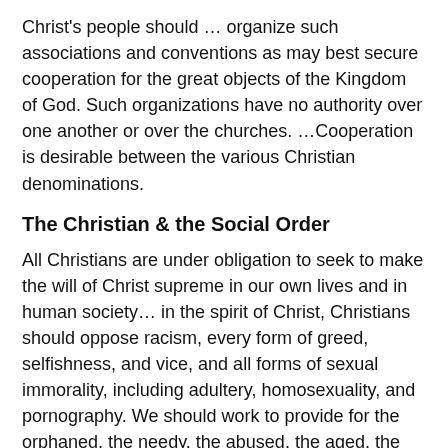Christ's people should … organize such associations and conventions as may best secure cooperation for the great objects of the Kingdom of God. Such organizations have no authority over one another or over the churches. …Cooperation is desirable between the various Christian denominations.
The Christian & the Social Order
All Christians are under obligation to seek to make the will of Christ supreme in our own lives and in human society… in the spirit of Christ, Christians should oppose racism, every form of greed, selfishness, and vice, and all forms of sexual immorality, including adultery, homosexuality, and pornography. We should work to provide for the orphaned, the needy, the abused, the aged, the helpless, and the sick. We should speak on behalf of the unborn and contend for the sanctity of all human life from conception to natural death…
Religious Liberty
Church and state should be separate. The state owes to every church protection and full freedom in the